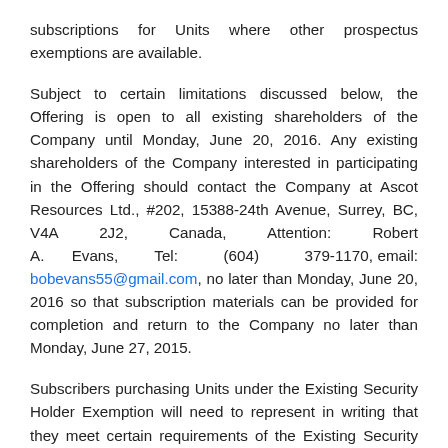subscriptions for Units where other prospectus exemptions are available.
Subject to certain limitations discussed below, the Offering is open to all existing shareholders of the Company until Monday, June 20, 2016. Any existing shareholders of the Company interested in participating in the Offering should contact the Company at Ascot Resources Ltd., #202, 15388-24th Avenue, Surrey, BC, V4A 2J2, Canada, Attention: Robert A. Evans, Tel: (604) 379-1170, email: bobevans55@gmail.com, no later than Monday, June 20, 2016 so that subscription materials can be provided for completion and return to the Company no later than Monday, June 27, 2015.
Subscribers purchasing Units under the Existing Security Holder Exemption will need to represent in writing that they meet certain requirements of the Existing Security Holder Exemption, including that they are recorded as the Record...